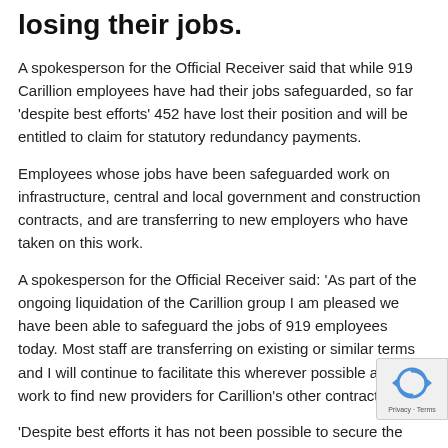losing their jobs.
A spokesperson for the Official Receiver said that while 919 Carillion employees have had their jobs safeguarded, so far 'despite best efforts' 452 have lost their position and will be entitled to claim for statutory redundancy payments.
Employees whose jobs have been safeguarded work on infrastructure, central and local government and construction contracts, and are transferring to new employers who have taken on this work.
A spokesperson for the Official Receiver said: 'As part of the ongoing liquidation of the Carillion group I am pleased we have been able to safeguard the jobs of 919 employees today. Most staff are transferring on existing or similar terms and I will continue to facilitate this wherever possible as we work to find new providers for Carillion's other contracts.
'Despite best efforts it has not been possible to secure the jobs of 377 staff, who will be made redundant. Those affected will be entitled to make a claim for statutory redundancy payments. Jobcentre Plus' Rapid Response Service stands ready to any of these employees by providing advice and information...